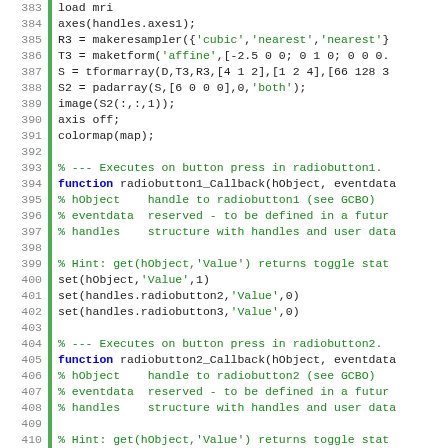Code listing lines 383-414, MATLAB source code showing image processing and radiobutton callback functions